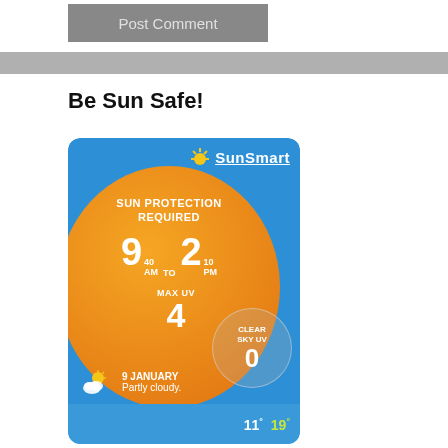Post Comment
[Figure (infographic): SunSmart UV alert card showing Sun Protection Required from 9:40 AM to 2:10 PM, Max UV 4, Clear Sky UV 0, dated 9 January, Partly cloudy, temperature min 11° max 19°]
Be Sun Safe!